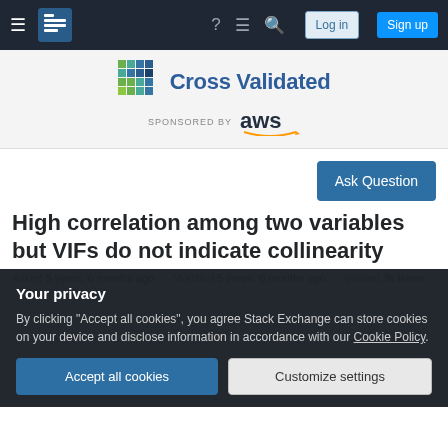Cross Validated — Stack Exchange Q&A site — navigation bar
[Figure (screenshot): Cross Validated logo with colorful square tiles and 'Cross Validated' text in blue, sponsored by AWS]
High correlation among two variables but VIFs do not indicate collinearity
Asked 5 years, 6 months ago   Modified 5 years, 6 months ago   Viewed 3k times
Your privacy
By clicking "Accept all cookies", you agree Stack Exchange can store cookies on your device and disclose information in accordance with our Cookie Policy.
Accept all cookies   Customize settings